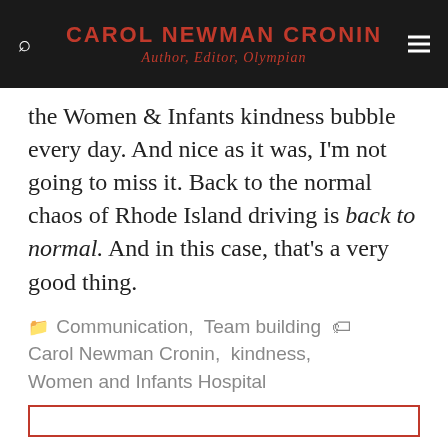CAROL NEWMAN CRONIN
Author, Editor, Olympian
the Women & Infants kindness bubble every day. And nice as it was, I'm not going to miss it. Back to the normal chaos of Rhode Island driving is back to normal. And in this case, that's a very good thing.
Communication, Team building
Carol Newman Cronin, kindness, Women and Infants Hospital